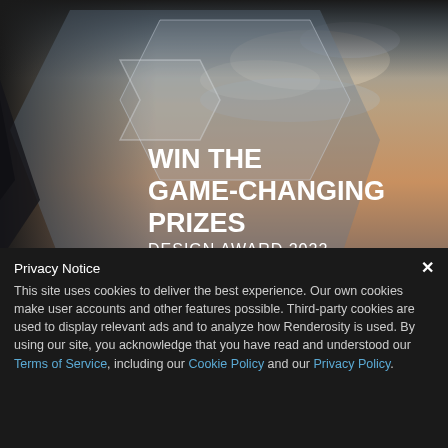[Figure (illustration): Design award promotional image with architectural angular shapes and sky background. Bold white text reads 'WIN THE GAME-CHANGING PRIZES DESIGN AWARD 2022' overlaid on the image.]
Privacy Notice
This site uses cookies to deliver the best experience. Our own cookies make user accounts and other features possible. Third-party cookies are used to display relevant ads and to analyze how Renderosity is used. By using our site, you acknowledge that you have read and understood our Terms of Service, including our Cookie Policy and our Privacy Policy.